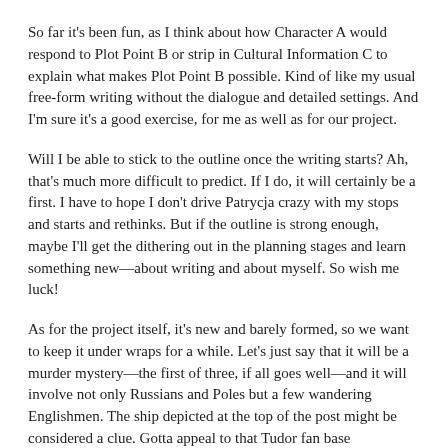So far it’s been fun, as I think about how Character A would respond to Plot Point B or strip in Cultural Information C to explain what makes Plot Point B possible. Kind of like my usual free-form writing without the dialogue and detailed settings. And I’m sure it’s a good exercise, for me as well as for our project.
Will I be able to stick to the outline once the writing starts? Ah, that’s much more difficult to predict. If I do, it will certainly be a first. I have to hope I don’t drive Patrycja crazy with my stops and starts and rethinks. But if the outline is strong enough, maybe I’ll get the dithering out in the planning stages and learn something new—about writing and about myself. So wish me luck!
As for the project itself, it’s new and barely formed, so we want to keep it under wraps for a while. Let’s just say that it will be a murder mystery—the first of three, if all goes well—and it will involve not only Russians and Poles but a few wandering Englishmen. The ship depicted at the top of the post might be considered a clue. Gotta appeal to that Tudor fan base somehow....
While you’re waiting, check out Patrycja’s two-part series on Hildegard of Bingen, The Greenest Branch and The Column of Burning Spices. Silent Water will be available for preorder on June 15 (release date August 6), but you can get a sneak peek of the prologue on P. K. Adams’ website, as well as information